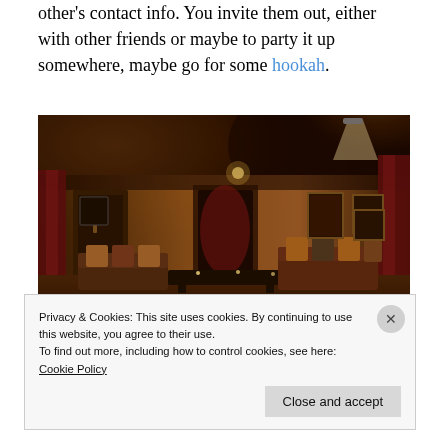other's contact info. You invite them out, either with other friends or maybe to party it up somewhere, maybe go for some hookah.
[Figure (photo): Interior of a hookah lounge with warm amber and red lighting, ornate ceiling, plush seating with cushions, decorative curtains, and artwork on walls.]
Privacy & Cookies: This site uses cookies. By continuing to use this website, you agree to their use.
To find out more, including how to control cookies, see here: Cookie Policy